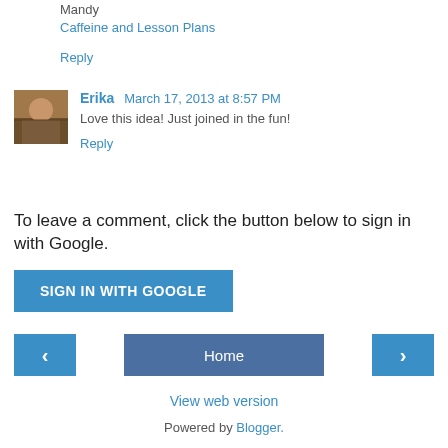Mandy
Caffeine and Lesson Plans
Reply
Erika  March 17, 2013 at 8:57 PM
Love this idea! Just joined in the fun!
Reply
To leave a comment, click the button below to sign in with Google.
[Figure (other): SIGN IN WITH GOOGLE button]
[Figure (other): Navigation bar with left arrow, Home button, and right arrow]
View web version
Powered by Blogger.